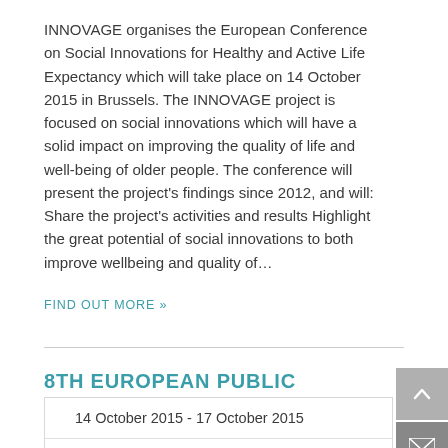INNOVAGE organises the European Conference on Social Innovations for Healthy and Active Life Expectancy which will take place on 14 October 2015 in Brussels. The INNOVAGE project is focused on social innovations which will have a solid impact on improving the quality of life and well-being of older people. The conference will present the project's findings since 2012, and will: Share the project's activities and results Highlight the great potential of social innovations to both improve wellbeing and quality of…
FIND OUT MORE »
8TH EUROPEAN PUBLIC HEALTH CONFERENCE
14 October 2015 - 17 October 2015
MICO Milan,